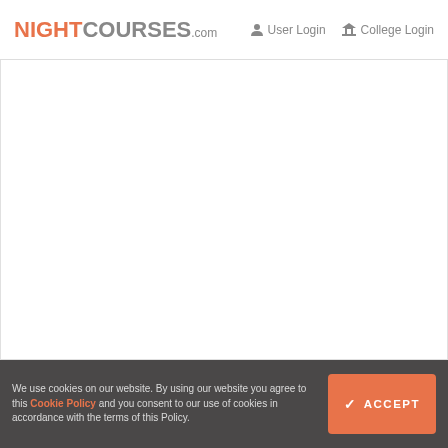NIGHTCOURSES.com  User Login  College Login
[Figure (screenshot): White empty main content area below navigation bar]
We use cookies on our website. By using our website you agree to this Cookie Policy and you consent to our use of cookies in accordance with the terms of this Policy.